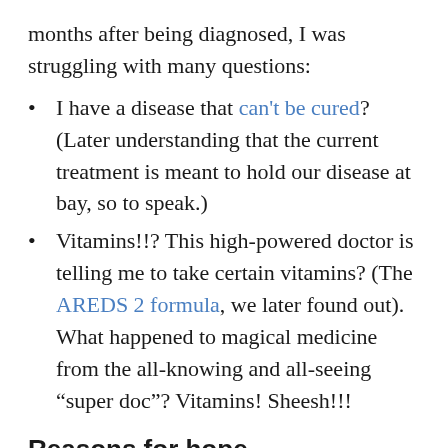months after being diagnosed, I was struggling with many questions:
I have a disease that can't be cured? (Later understanding that the current treatment is meant to hold our disease at bay, so to speak.)
Vitamins!!? This high-powered doctor is telling me to take certain vitamins? (The AREDS 2 formula, we later found out). What happened to magical medicine from the all-knowing and all-seeing “super doc”? Vitamins! Sheesh!!!
Reasons for hope
Back to the present time, and the good